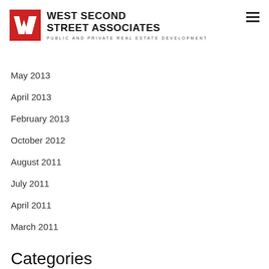WEST SECOND STREET ASSOCIATES
PUBLIC AND PRIVATE REAL ESTATE DEVELOPMENT
May 2013
April 2013
February 2013
October 2012
August 2011
July 2011
April 2011
March 2011
Categories
Advertising